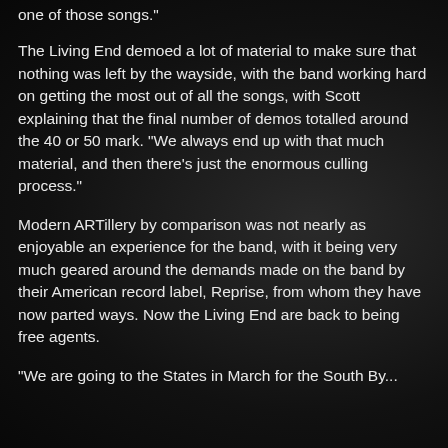one of those songs.”
The Living End demoed a lot of material to make sure that nothing was left by the wayside, with the band working hard on getting the most out of all the songs, with Scott explaining that the final number of demos totalled around the 40 or 50 mark. “We always end up with that much material, and then there’s just the enormous culling process.”
Modern ARTillery by comparison was not nearly as enjoyable an experience for the band, with it being very much geared around the demands made on the band by their American record label, Reprise, from whom they have now parted ways. Now the Living End are back to being free agents.
“We are going to the States in March for the South By...